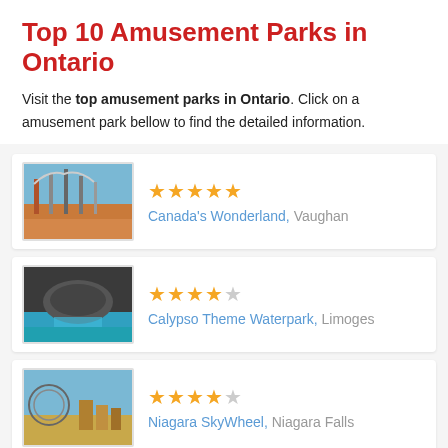Top 10 Amusement Parks in Ontario
Visit the top amusement parks in Ontario. Click on a amusement park bellow to find the detailed information.
[Figure (photo): Photo of Canada's Wonderland roller coasters with blue sky]
Canada’s Wonderland, Vaughan (4.5 stars)
[Figure (photo): Photo of Calypso Theme Waterpark water slides]
Calypso Theme Waterpark, Limoges (4 stars)
[Figure (photo): Photo of Niagara SkyWheel and attractions]
Niagara SkyWheel, Niagara Falls (4 stars)